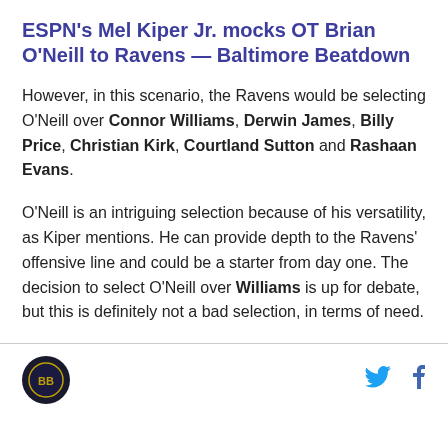ESPN's Mel Kiper Jr. mocks OT Brian O'Neill to Ravens — Baltimore Beatdown
However, in this scenario, the Ravens would be selecting O'Neill over Connor Williams, Derwin James, Billy Price, Christian Kirk, Courtland Sutton and Rashaan Evans.
O'Neill is an intriguing selection because of his versatility, as Kiper mentions. He can provide depth to the Ravens' offensive line and could be a starter from day one. The decision to select O'Neill over Williams is up for debate, but this is definitely not a bad selection, in terms of need.
Baltimore Beatdown logo | Twitter | Facebook